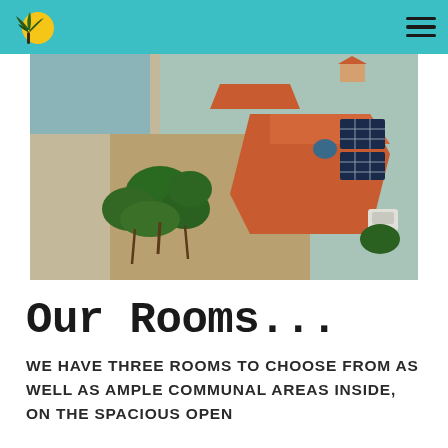[Figure (logo): Palm tree and sun logo on teal header bar with hamburger menu icon]
[Figure (photo): Aerial drone photo of a beachside property with red-tiled roofs, solar panels, and surrounding palm trees next to a beach]
Our Rooms...
We have three rooms to choose from as well as ample communal areas inside, on the spacious open